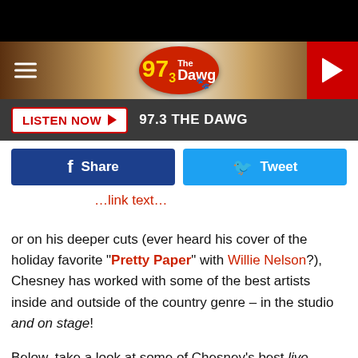[Figure (logo): 97.3 The Dawg radio station logo on wood-grain banner header with hamburger menu and play button]
[Figure (screenshot): Listen Now button bar with 97.3 THE DAWG text on dark background]
[Figure (screenshot): Facebook Share and Twitter Tweet buttons]
or on his deeper cuts (ever heard his cover of the holiday favorite "Pretty Paper" with Willie Nelson?), Chesney has worked with some of the best artists inside and outside of the country genre – in the studio and on stage!
Below, take a look at some of Chesney's best live collaborations. Taylor Swift and a few other big country names make appearances, but you may be a bit surprised by who else is on the list (one of them isn't even a singer!).